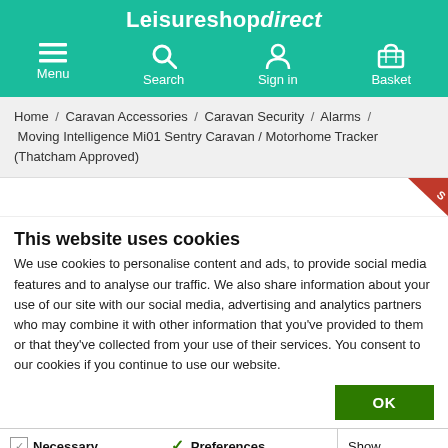Leisureshop direct — Menu, Search, Sign in, Basket navigation bar
Home / Caravan Accessories / Caravan Security / Alarms / Moving Intelligence Mi01 Sentry Caravan / Motorhome Tracker (Thatcham Approved)
This website uses cookies
We use cookies to personalise content and ads, to provide social media features and to analyse our traffic. We also share information about your use of our site with our social media, advertising and analytics partners who may combine it with other information that you've provided to them or that they've collected from your use of their services. You consent to our cookies if you continue to use our website.
OK
Necessary  Preferences  Statistics  Marketing  Show details